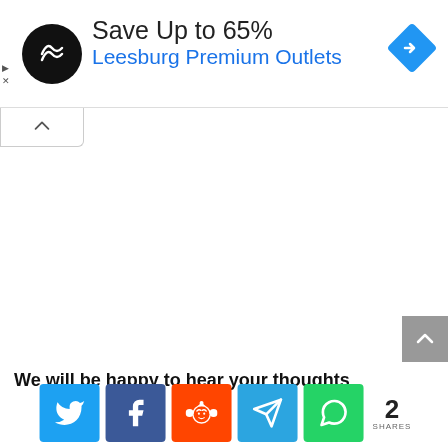[Figure (screenshot): Advertisement banner: black circular logo with double-arrow symbol, text 'Save Up to 65%' in black and 'Leesburg Premium Outlets' in blue, blue diamond navigation icon on the right. Small play/close icons on left edge.]
[Figure (screenshot): Collapse/minimize tab button with upward caret arrow icon, positioned below the ad banner on the left side.]
[Figure (screenshot): Gray scroll-to-top button with upward caret icon, positioned on the right edge of the page.]
We will be happy to hear your thoughts
[Figure (infographic): Social sharing buttons row: Twitter (blue), Facebook (dark blue), Reddit (orange-red), Telegram (blue), WhatsApp (green), followed by share count showing '2 SHARES'.]